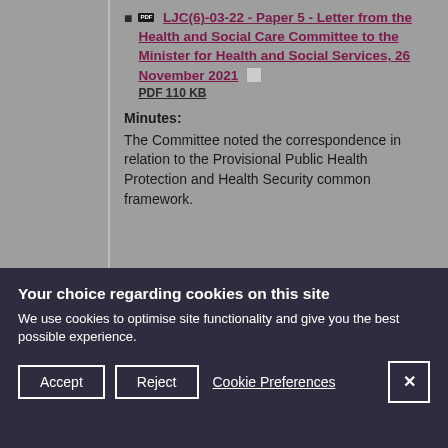LJC(6)-03-22 - Paper 5 - Letter from the Health and Social Care Committee to the Minister for Health and Social Services, 26 November 2021 PDF 110 KB
Minutes:
The Committee noted the correspondence in relation to the Provisional Public Health Protection and Health Security common framework.
Your choice regarding cookies on this site
We use cookies to optimise site functionality and give you the best possible experience.
Accept  Reject  Cookie Preferences  X